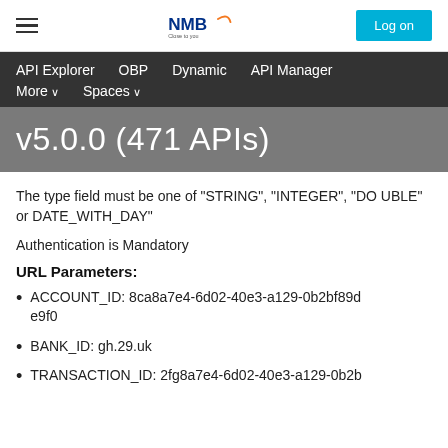NMB — Close to you — Log on
API Explorer   OBP   Dynamic   API Manager   More ∨   Spaces ∨
v5.0.0 (471 APIs)
The type field must be one of "STRING", "INTEGER", "DOUBLE" or DATE_WITH_DAY"
Authentication is Mandatory
URL Parameters:
ACCOUNT_ID: 8ca8a7e4-6d02-40e3-a129-0b2bf89de9f0
BANK_ID: gh.29.uk
TRANSACTION_ID: 2fg8a7e4-6d02-40e3-a129-0b2b